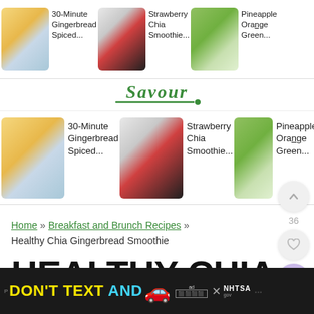[Figure (screenshot): Top navigation bar with food recipe thumbnails: 30-Minute Gingerbread Spiced..., Strawberry Chia Smoothie..., Pineapple Orange Green...]
[Figure (logo): Savour logo in green italic script with spoon underline]
[Figure (screenshot): Second row of recipe cards: 30-Minute Gingerbread Spiced..., Strawberry Chia Smoothie..., Pineapple Orange Green...]
Home » Breakfast and Brunch Recipes » Healthy Chia Gingerbread Smoothie
HEALTHY CHIA GINGERBREAD SMOOTHIE
[Figure (infographic): Floating UI buttons: up arrow, heart (36 likes), search]
[Figure (infographic): Ad banner: DON'T TEXT AND [car emoji] with NHTSA logo]